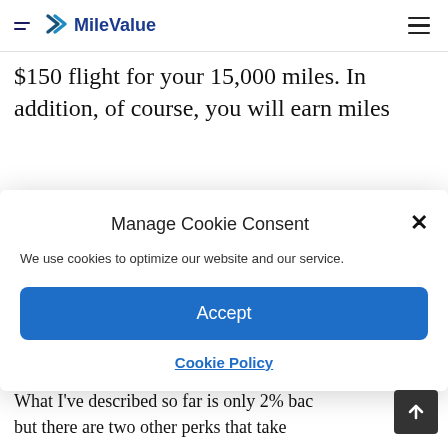MileValue
$150 flight for your 15,000 miles. In addition, of course, you will earn miles
Manage Cookie Consent
We use cookies to optimize our website and our service.
Accept
Cookie Policy
You can redeem the miles for any seat, any time, on any airlines, to anywhere.
What I've described so far is only 2% bac but there are two other perks that take